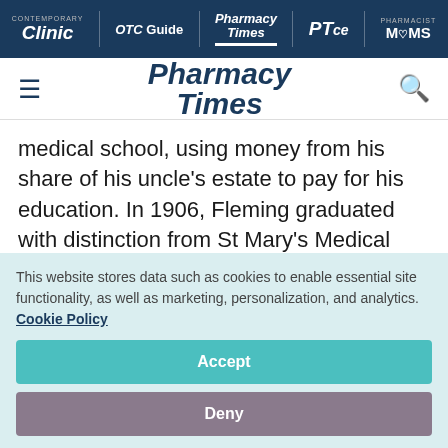Contemporary Clinic | OTC Guide | Pharmacy Times | PTce | Pharmacist MOMS
[Figure (logo): Pharmacy Times logo with hamburger menu and search icon]
medical school, using money from his share of his uncle's estate to pay for his education. In 1906, Fleming graduated with distinction from St Mary's Medical School at London University.
During his service in the Territorial Army, 1901
This website stores data such as cookies to enable essential site functionality, as well as marketing, personalization, and analytics. Cookie Policy
Accept
Deny